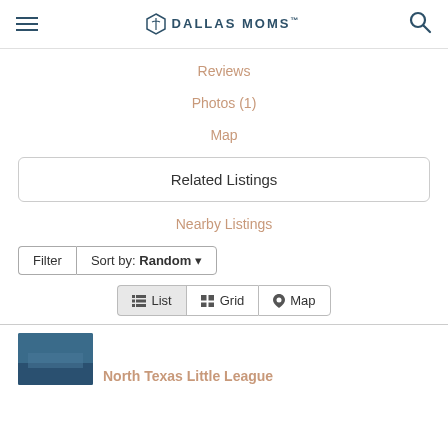DALLAS MOMS
Reviews
Photos (1)
Map
Related Listings
Nearby Listings
Filter  Sort by: Random
List  Grid  Map
North Texas Little League